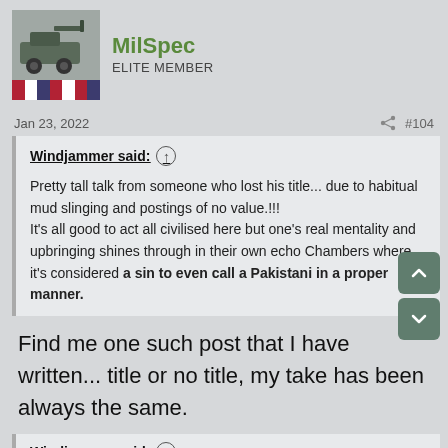MilSpec — ELITE MEMBER
Jan 23, 2022   #104
Windjammer said: ↑
Pretty tall talk from someone who lost his title... due to habitual mud slinging and postings of no value.!!!
It's all good to act all civilised here but one's real mentality and upbringing shines through in their own echo Chambers where it's considered a sin to even call a Pakistani in a proper manner.
Find me one such post that I have written... title or no title, my take has been always the same.
Windjammer said: ↑
Even here most of Indians contribution is to act between a clown and a dallal